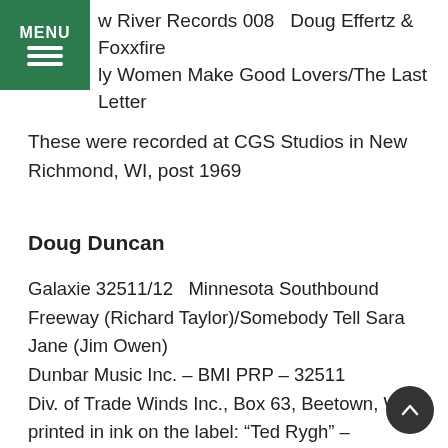MENU | w River Records 008   Doug Effertz & Foxxfire | ly Women Make Good Lovers/The Last Letter
These were recorded at CGS Studios in New Richmond, WI, post 1969
Doug Duncan
Galaxie 32511/12   Minnesota Southbound Freeway (Richard Taylor)/Somebody Tell Sara Jane (Jim Owen)
Dunbar Music Inc. – BMI PRP – 32511
Div. of Trade Winds Inc., Box 63, Beetown, WI
printed in ink on the label: “Ted Rygh” – deceased fiddler from WI
Probably 70’s; writer, Owen, had success in the 7